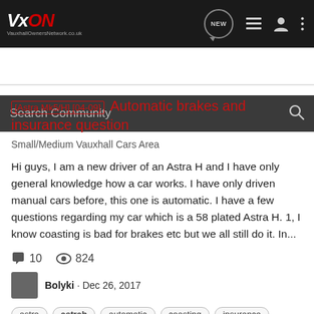VxON VauxhallOwnersNetwork.co.uk
[Astra Mk5/H] [04-09]  Automatic brakes and insurance question
Small/Medium Vauxhall Cars Area
Hi guys, I am a new driver of an Astra H and I have only general knowledge how a car works. I have only driven manual cars before, this one is automatic. I have a few questions regarding my car which is a 58 plated Astra H. 1, I know coasting is bad for brakes etc but we all still do it. In...
10   824
Bolyki · Dec 26, 2017
astra  astrah  automatic  coasting  insurance  roundabouts